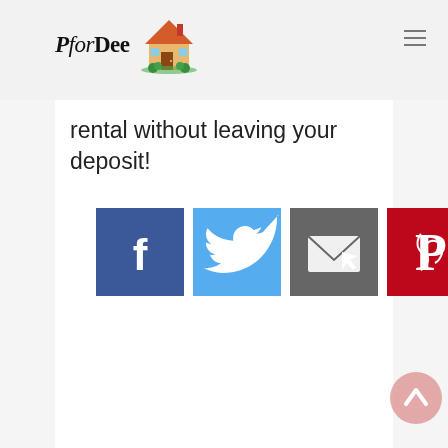PforDee [logo with house icon]
rental without leaving your deposit!
[Figure (infographic): Row of five social sharing buttons: Facebook (blue), Twitter (light blue), Email/share (gray), Pinterest (red), More/add (orange-red)]
[Figure (illustration): Scroll-to-top circular button with upward arrow, pink/salmon color, bottom right corner]